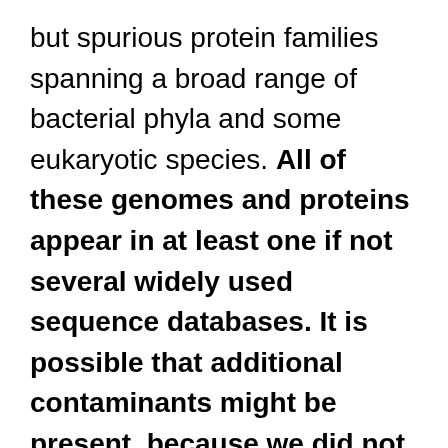but spurious protein families spanning a broad range of bacterial phyla and some eukaryotic species. All of these genomes and proteins appear in at least one if not several widely used sequence databases. It is possible that additional contaminants might be present, because we did not screen for all possible sources of contamination, such as other human genomic regions, fragments of DNA from nonhuman host organisms, environmental sources, and laboratory vectors.

This widespread contamination creates